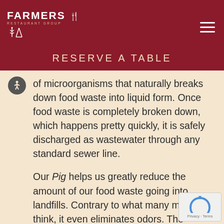FARMERS RESTAURANT GROUP
RESERVE A TABLE
of microorganisms that naturally breaks down food waste into liquid form. Once food waste is completely broken down, which happens pretty quickly, it is safely discharged as wastewater through any standard sewer line.
Our Pig helps us greatly reduce the amount of our food waste going into landfills. Contrary to what many may think, it even eliminates odors. The system’s design works to process and dispose of food waste so efficiently, it doesn’t have time to be exposed to the elements so there is very little smell. Even though it eats …